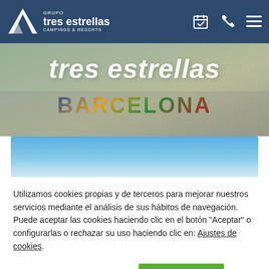[Figure (logo): Grupo Tres Estrellas Campings & Resorts logo with navigation header bar in dark blue]
[Figure (photo): Hero banner with italic white text 'tres estrellas' and mosaic/patterned text 'BARCELONA' on blurred outdoor background]
[Figure (photo): Blue sky image strip]
Utilizamos cookies propias y de terceros para mejorar nuestros servicios mediante el análisis de sus hábitos de navegación. Puede aceptar las cookies haciendo clic en el botón "Aceptar" o configurarlas o rechazar su uso haciendo clic en: Ajustes de cookies.
Leer política de cookies
ACEPTAR